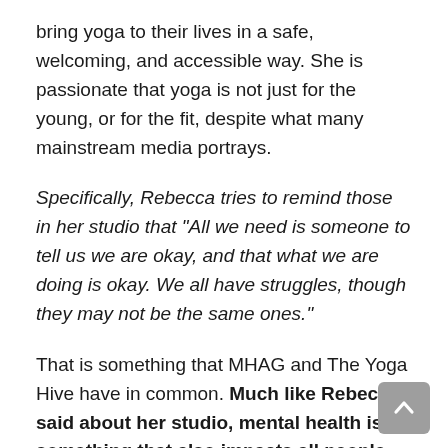bring yoga to their lives in a safe, welcoming, and accessible way. She is passionate that yoga is not just for the young, or for the fit, despite what many mainstream media portrays.
Specifically, Rebecca tries to remind those in her studio that "All we need is someone to tell us we are okay, and that what we are doing is okay. We all have struggles, though they may not be the same ones."
That is something that MHAG and The Yoga Hive have in common. Much like Rebecca said about her studio, mental health is something that also impacts all people. Though the struggles are often universal; symptoms, experiences, and coping strategies differ across age, social, gender identity, and racial groups. MHAG is dedicated to catering our education and resources to all